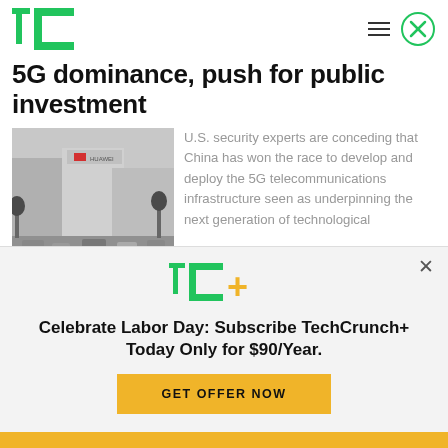TechCrunch
5G dominance, push for public investment
[Figure (photo): Street scene with Huawei-branded building and traffic]
U.S. security experts are conceding that China has won the race to develop and deploy the 5G telecommunications infrastructure seen as underpinning the next generation of technological
[Figure (infographic): TechCrunch+ subscription advertisement overlay: Celebrate Labor Day: Subscribe TechCrunch+ Today Only for $90/Year. GET OFFER NOW button.]